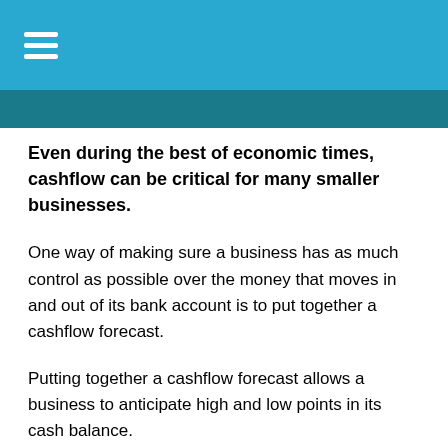Even during the best of economic times, cashflow can be critical for many smaller businesses.
One way of making sure a business has as much control as possible over the money that moves in and out of its bank account is to put together a cashflow forecast.
Putting together a cashflow forecast allows a business to anticipate high and low points in its cash balance.
A cashflow forecast works by charting how much